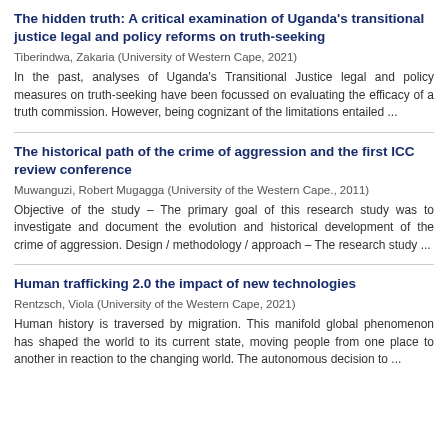The hidden truth: A critical examination of Uganda's transitional justice legal and policy reforms on truth-seeking
Tiberindwa, Zakaria (University of Western Cape, 2021)
In the past, analyses of Uganda's Transitional Justice legal and policy measures on truth-seeking have been focussed on evaluating the efficacy of a truth commission. However, being cognizant of the limitations entailed ...
The historical path of the crime of aggression and the first ICC review conference
Muwanguzi, Robert Mugagga (University of the Western Cape., 2011)
Objective of the study – The primary goal of this research study was to investigate and document the evolution and historical development of the crime of aggression. Design / methodology / approach – The research study ...
Human trafficking 2.0 the impact of new technologies
Rentzsch, Viola (University of the Western Cape, 2021)
Human history is traversed by migration. This manifold global phenomenon has shaped the world to its current state, moving people from one place to another in reaction to the changing world. The autonomous decision to ...